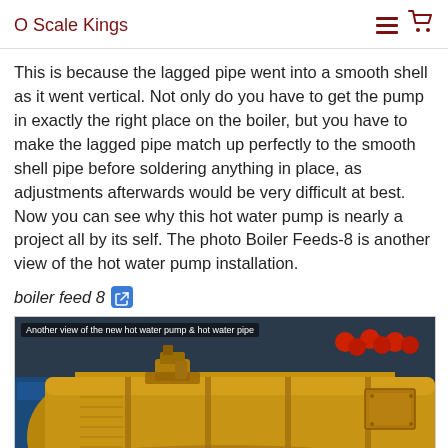O Scale Kings
This is because the lagged pipe went into a smooth shell as it went vertical. Not only do you have to get the pump in exactly the right place on the boiler, but you have to make the lagged pipe match up perfectly to the smooth shell pipe before soldering anything in place, as adjustments afterwards would be very difficult at best. Now you can see why this hot water pump is nearly a project all by its self. The photo Boiler Feeds-8 is another view of the hot water pump installation.
boiler feed 8
[Figure (photo): Close-up photo of a brass/gold colored model steam locomotive boiler showing hot water pump and hot water pipe installation. Caption overlay reads: Another view of the new hot water pump & hot water pipe]